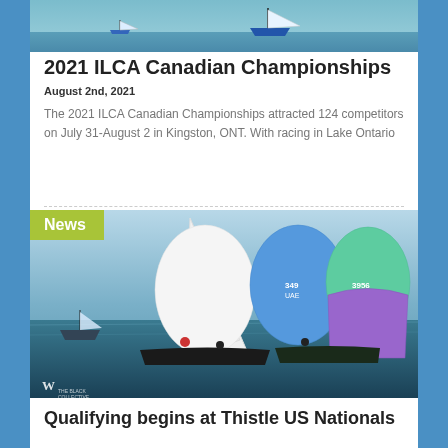[Figure (photo): Aerial or water-level photo of sailboat on blue water, TSGphoto.com watermark visible]
2021 ILCA Canadian Championships
August 2nd, 2021
The 2021 ILCA Canadian Championships attracted 124 competitors on July 31-August 2 in Kingston, ONT. With racing in Lake Ontario
[Figure (photo): Sailing race photo showing multiple boats with colorful spinnaker sails (white, blue, green/purple) racing on open water. News badge overlay in green.]
Qualifying begins at Thistle US Nationals